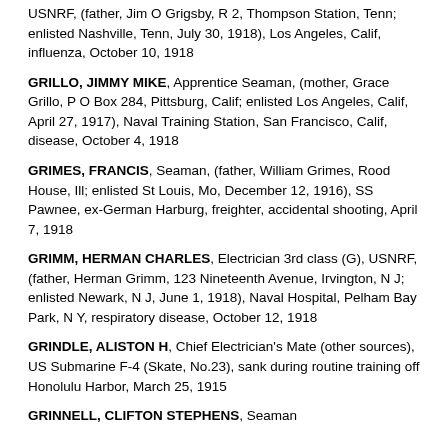USNRF, (father, Jim O Grigsby, R 2, Thompson Station, Tenn; enlisted Nashville, Tenn, July 30, 1918), Los Angeles, Calif, influenza, October 10, 1918
GRILLO, JIMMY MIKE, Apprentice Seaman, (mother, Grace Grillo, P O Box 284, Pittsburg, Calif; enlisted Los Angeles, Calif, April 27, 1917), Naval Training Station, San Francisco, Calif, disease, October 4, 1918
GRIMES, FRANCIS, Seaman, (father, William Grimes, Rood House, Ill; enlisted St Louis, Mo, December 12, 1916), SS Pawnee, ex-German Harburg, freighter, accidental shooting, April 7, 1918
GRIMM, HERMAN CHARLES, Electrician 3rd class (G), USNRF, (father, Herman Grimm, 123 Nineteenth Avenue, Irvington, N J; enlisted Newark, N J, June 1, 1918), Naval Hospital, Pelham Bay Park, N Y, respiratory disease, October 12, 1918
GRINDLE, ALISTON H, Chief Electrician's Mate (other sources), US Submarine F-4 (Skate, No.23), sank during routine training off Honolulu Harbor, March 25, 1915
GRINNELL, CLIFTON STEPHENS, Seaman